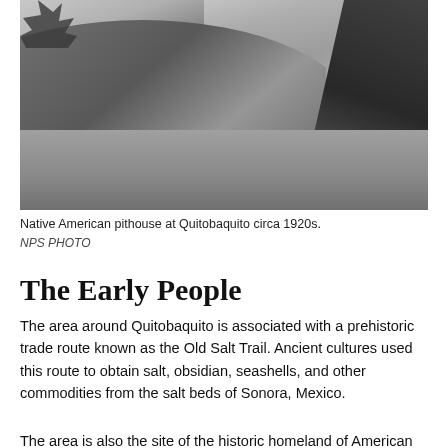[Figure (photo): Black and white photograph of a Native American pithouse at Quitobaquito, circa 1920s. Shows an earthen mound with a structure partially visible on the right side, trees on the left, and desert ground in the foreground.]
Native American pithouse at Quitobaquito circa 1920s.
NPS PHOTO
The Early People
The area around Quitobaquito is associated with a prehistoric trade route known as the Old Salt Trail. Ancient cultures used this route to obtain salt, obsidian, seashells, and other commodities from the salt beds of Sonora, Mexico.
The area is also the site of the historic homeland of American Indian...